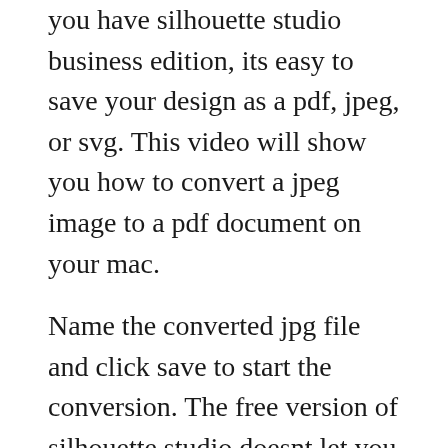you have silhouette studio business edition, its easy to save your design as a pdf, jpeg, or svg. This video will show you how to convert a jpeg image to a pdf document on your mac.
Name the converted jpg file and click save to start the conversion. The free version of silhouette studio doesnt let you save. Convert eml to jpg online and free this page also contains information on the eml and jpg file extensions. Click the upload files button and select up to 20 images you wish to convert. To get the highest quality for converting pdf to images, you can use a tinker tool and